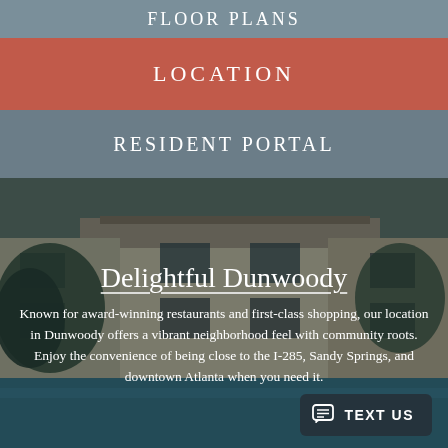FLOOR PLANS
LOCATION
RESIDENT PORTAL
[Figure (photo): Apartment building exterior with trees and a pool in the foreground, brick facade with balconies]
Delightful Dunwoody
Known for award-winning restaurants and first-class shopping, our location in Dunwoody offers a vibrant neighborhood feel with community roots. Enjoy the convenience of being close to the I-285, Sandy Springs, and downtown Atlanta when you need it.
TEXT US